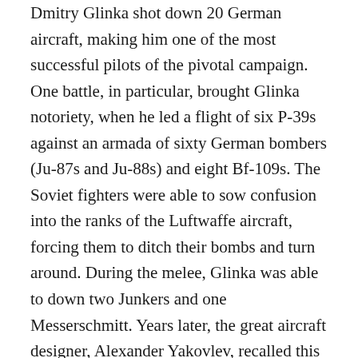Dmitry Glinka shot down 20 German aircraft, making him one of the most successful pilots of the pivotal campaign. One battle, in particular, brought Glinka notoriety, when he led a flight of six P-39s against an armada of sixty German bombers (Ju-87s and Ju-88s) and eight Bf-109s. The Soviet fighters were able to sow confusion into the ranks of the Luftwaffe aircraft, forcing them to ditch their bombs and turn around. During the melee, Glinka was able to down two Junkers and one Messerschmitt. Years later, the great aircraft designer, Alexander Yakovlev, recalled this battle, exclaiming, “It is difficult to visualize the picture of this battle! After 68 enemy aircraft aimed more than 150 gun barrels at our fighters. You had to have insane courage… to rush into such a battle and be victorious.”
However, not long after, Glinka was again shot down,